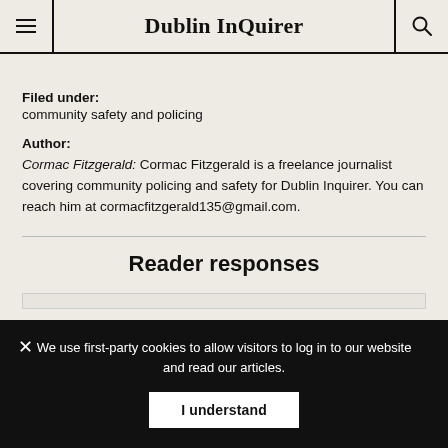Dublin InQuirer
Filed under: community safety and policing
Author: Cormac Fitzgerald: Cormac Fitzgerald is a freelance journalist covering community policing and safety for Dublin Inquirer. You can reach him at cormacfitzgerald135@gmail.com.
Reader responses
We use first-party cookies to allow visitors to log in to our website and read our articles.
I understand